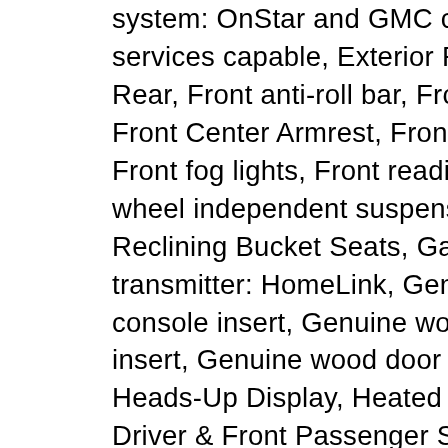system: OnStar and GMC connected services capable, Exterior Parking Camera Rear, Front anti-roll bar, Front Bucket Seats, Front Center Armrest, Front dual zone A/C, Front fog lights, Front reading lights, Front wheel independent suspension, Full-Feature Reclining Bucket Seats, Garage door transmitter: HomeLink, Genuine wood console insert, Genuine wood dashboard insert, Genuine wood door panel insert, Heads-Up Display, Heated & Ventilated Driver & Front Passenger Seats, Heated door mirrors, Heated front seats, Heated rear seats, Heated steering wheel, High-Intensity Discharge Headlights, Illuminated entry, Leather Shift Knob, Low tire pressure warning, Memory seat, Occupant sensing airbag, Outside temperature display, Overhead airbag, Overhead console, Panic alarm, Passenger door bin, Passenger vanity mirror, Pedal